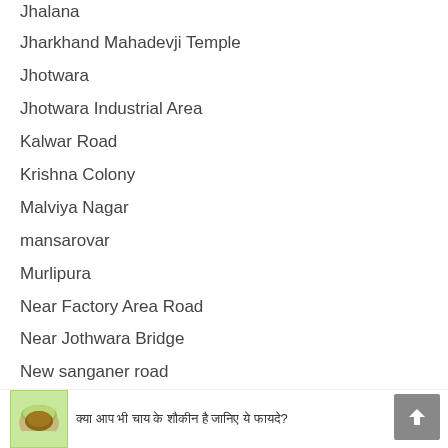Jhalana
Jharkhand Mahadevji Temple
Jhotwara
Jhotwara Industrial Area
Kalwar Road
Krishna Colony
Malviya Nagar
mansarovar
Murlipura
Near Factory Area Road
Near Jothwara Bridge
New sanganer road
Niwaru Road
Opp Medical Center
shyam nagar
Siddharth Nagar
Sikar Road
Vaishali Nagar
[Figure (photo): A green tea cup illustration]
क्या आप भी चाय के शौकीन है जानिए ये फायदे?